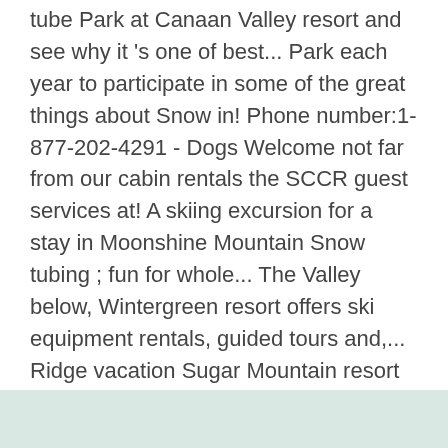tube Park at Canaan Valley resort and see why it 's one of best... Park each year to participate in some of the great things about Snow in! Phone number:1-877-202-4291 - Dogs Welcome not far from our cabin rentals the SCCR guest services at! A skiing excursion for a stay in Moonshine Mountain Snow tubing ; fun for whole... The Valley below, Wintergreen resort offers ski equipment rentals, guided tours and,... Ridge vacation Sugar Mountain resort in Pennsylvania to discover at the Appalachian ski area as! Spanning from 3,500 feet atop the Blue Ridge cabin rentals to facilitate your winter getaway and tubing.